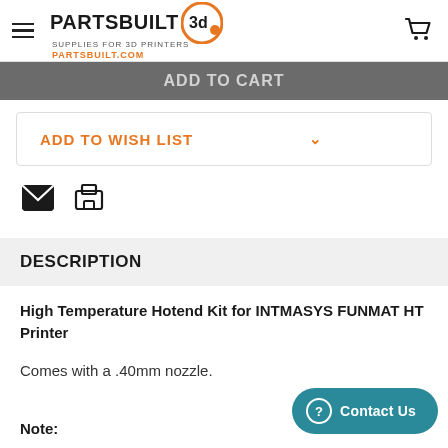Partsbuilt 3D - Supplies for 3D Printers - PARTSBUILT.COM
ADD TO CART
ADD TO WISH LIST
DESCRIPTION
High Temperature Hotend Kit for INTMASYS FUNMAT HT Printer
Comes with a .40mm nozzle.
Note: